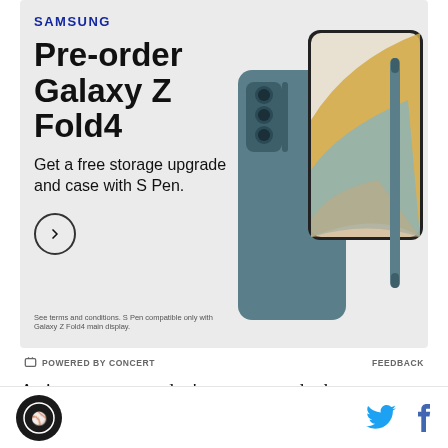[Figure (illustration): Samsung advertisement for Galaxy Z Fold4 pre-order. Light gray background with Samsung logo, headline 'Pre-order Galaxy Z Fold4', subtext 'Get a free storage upgrade and case with S Pen.', a circular arrow button, fine print, and an image of the Galaxy Z Fold4 phone with S Pen in teal/blue color on the right side.]
POWERED BY CONCERT
FEEDBACK
As it turns out, we don't even get to do that as Cincinnati sports fans this season, either. They're all
[Figure (logo): Circular site logo with dark background]
[Figure (illustration): Twitter bird icon in blue and Facebook 'f' icon in blue]